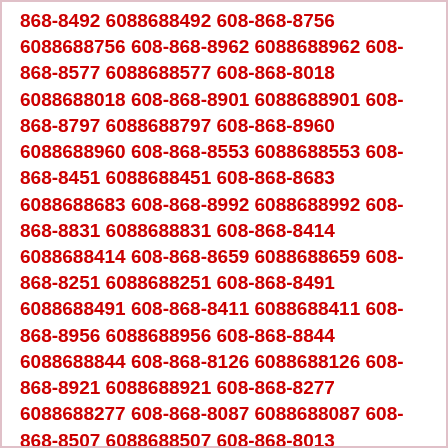868-8492 6088688492 608-868-8756 6088688756 608-868-8962 6088688962 608-868-8577 6088688577 608-868-8018 6088688018 608-868-8901 6088688901 608-868-8797 6088688797 608-868-8960 6088688960 608-868-8553 6088688553 608-868-8451 6088688451 608-868-8683 6088688683 608-868-8992 6088688992 608-868-8831 6088688831 608-868-8414 6088688414 608-868-8659 6088688659 608-868-8251 6088688251 608-868-8491 6088688491 608-868-8411 6088688411 608-868-8956 6088688956 608-868-8844 6088688844 608-868-8126 6088688126 608-868-8921 6088688921 608-868-8277 6088688277 608-868-8087 6088688087 608-868-8507 6088688507 608-868-8013 6088688013 608-868-8113 6088688113 608-868-8623 6088688623 608-868-8976 6088688976 608-868-8924 6088688924 608-868-8086 6088688086 608-868-8040 6088688040 608-868-8554 6088688554 608-868-8680 6088688680 608-868-8725